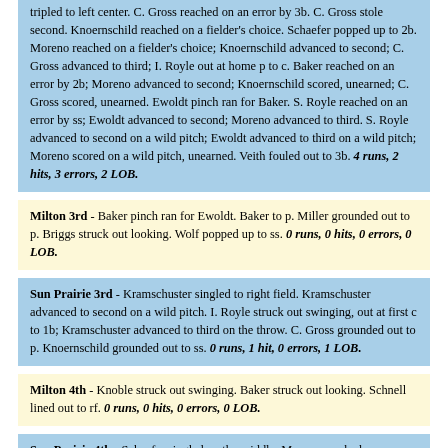tripled to left center. C. Gross reached on an error by 3b. C. Gross stole second. Knoernschild reached on a fielder's choice. Schaefer popped up to 2b. Moreno reached on a fielder's choice; Knoernschild advanced to second; C. Gross advanced to third; I. Royle out at home p to c. Baker reached on an error by 2b; Moreno advanced to second; Knoernschild scored, unearned; C. Gross scored, unearned. Ewoldt pinch ran for Baker. S. Royle reached on an error by ss; Ewoldt advanced to second; Moreno advanced to third. S. Royle advanced to second on a wild pitch; Ewoldt advanced to third on a wild pitch; Moreno scored on a wild pitch, unearned. Veith fouled out to 3b. 4 runs, 2 hits, 3 errors, 2 LOB.
Milton 3rd - Baker pinch ran for Ewoldt. Baker to p. Miller grounded out to p. Briggs struck out looking. Wolf popped up to ss. 0 runs, 0 hits, 0 errors, 0 LOB.
Sun Prairie 3rd - Kramschuster singled to right field. Kramschuster advanced to second on a wild pitch. I. Royle struck out swinging, out at first c to 1b; Kramschuster advanced to third on the throw. C. Gross grounded out to p. Knoernschild grounded out to ss. 0 runs, 1 hit, 0 errors, 1 LOB.
Milton 4th - Knoble struck out swinging. Baker struck out looking. Schnell lined out to rf. 0 runs, 0 hits, 0 errors, 0 LOB.
Sun Prairie 4th - Schaefer singled up the middle. Moreno reached on a fielder's choice; Schaefer advanced to second. Baker lined out to 2b. S.